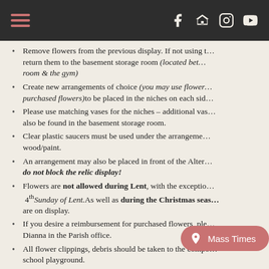Navigation bar with hamburger menu and social icons
Remove flowers from the previous display. If not using them, return them to the basement storage room (located between the boiler room & the gym)
Create new arrangements of choice (you may use flowers from purchased flowers) to be placed in the niches on each side
Please use matching vases for the niches – additional vases can also be found in the basement storage room.
Clear plastic saucers must be used under the arrangements to protect the wood/paint.
An arrangement may also be placed in front of the Alter, but do not block the relic display!
Flowers are not allowed during Lent, with the exception of the 4th Sunday of Lent. As well as during the Christmas season when trees are on display.
If you desire a reimbursement for purchased flowers, please contact Dianna in the Parish office.
All flower clippings, debris should be taken to the compost bin near the school playground.
HOLY WATER
Clean & refill the Holy Water bowls using a pitcher located in the Sacristy. (when cleaning the holy water, you may water the planters outside church offices not...
Dry & return the pitcher to the cupboard inside sacristy w...
If Holy Water reservoir is less than ¼ full, please leave...